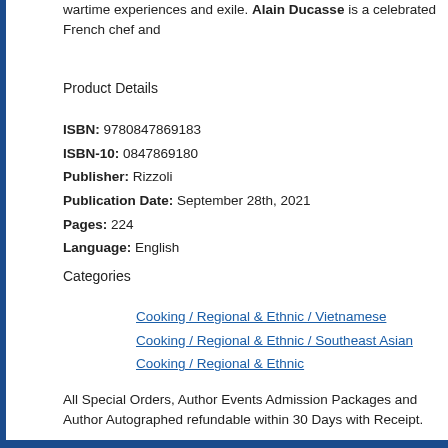wartime experiences and exile. Alain Ducasse is a celebrated French chef and
Product Details
ISBN: 9780847869183
ISBN-10: 0847869180
Publisher: Rizzoli
Publication Date: September 28th, 2021
Pages: 224
Language: English
Categories
Cooking / Regional & Ethnic / Vietnamese
Cooking / Regional & Ethnic / Southeast Asian
Cooking / Regional & Ethnic
All Special Orders, Author Events Admission Packages and Author Autographed refundable within 30 Days with Receipt.